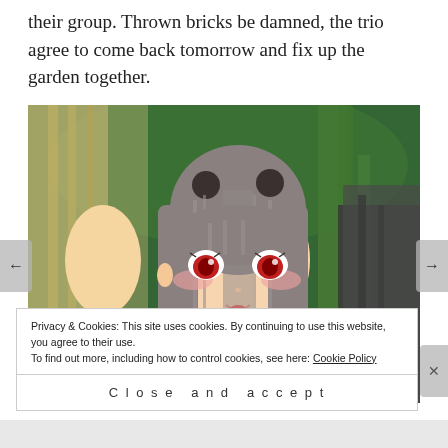their group. Thrown bricks be damned, the trio agree to come back tomorrow and fix up the garden together.
[Figure (screenshot): Anime screenshot showing a girl with long gray hair, red eyes, and bun hairstyle, blushing and speaking. Subtitle reads: "It's okay. This means I'm one of you. We're friends!"]
Privacy & Cookies: This site uses cookies. By continuing to use this website, you agree to their use.
To find out more, including how to control cookies, see here: Cookie Policy
Close and accept